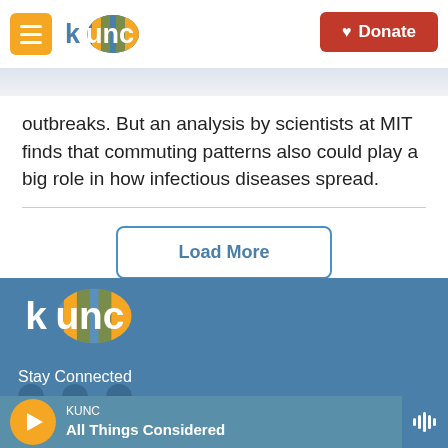KUNC | Donate
outbreaks. But an analysis by scientists at MIT finds that commuting patterns also could play a big role in how infectious diseases spread.
Load More
[Figure (logo): KUNC radio station logo in footer]
Stay Connected
KUNC – All Things Considered